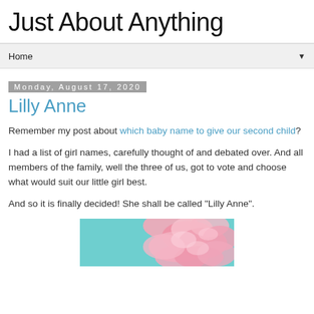Just About Anything
Home ▼
Monday, August 17, 2020
Lilly Anne
Remember my post about which baby name to give our second child?
I had a list of girl names, carefully thought of and debated over. And all members of the family, well the three of us, got to vote and choose what would suit our little girl best.
And so it is finally decided! She shall be called "Lilly Anne".
[Figure (photo): Pink carnation flowers on a teal/mint green background]